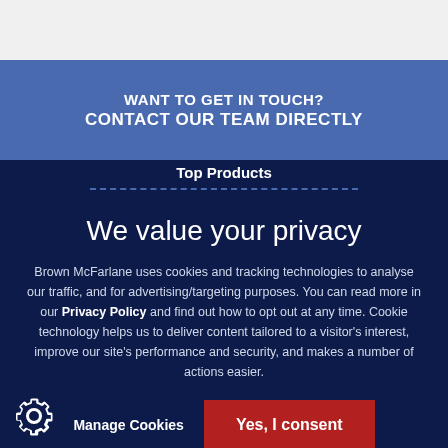WANT TO GET IN TOUCH?
CONTACT OUR TEAM DIRECTLY
Top Products
We value your privacy
Brown McFarlane uses cookies and tracking technologies to analyse our traffic, and for advertising/targeting purposes. You can read more in our Privacy Policy and find out how to opt out at any time. Cookie technology helps us to deliver content tailored to a visitor's interest, improve our site's performance and security, and makes a number of actions easier.
Manage Cookies
Yes, I consent